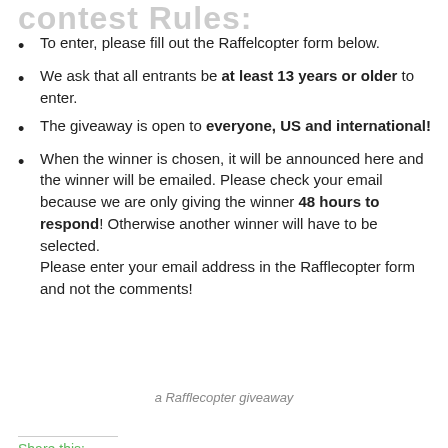contest Rules:
To enter, please fill out the Raffelcopter form below.
We ask that all entrants be at least 13 years or older to enter.
The giveaway is open to everyone, US and international!
When the winner is chosen, it will be announced here and the winner will be emailed. Please check your email because we are only giving the winner 48 hours to respond! Otherwise another winner will have to be selected.
Please enter your email address in the Rafflecopter form and not the comments!
a Rafflecopter giveaway
Share this:
[Figure (infographic): Row of social media share icons: Twitter (blue), Facebook (dark blue), Google+ (red-orange), Pinterest (red with badge '1'), Tumblr (dark blue-gray), LinkedIn (blue), Reddit (light blue), Email (gray)]
[Figure (infographic): Author bio tabs: person icon tab (active/green), Twitter tab, Facebook tab, content/text tab]
Kat Kennedy